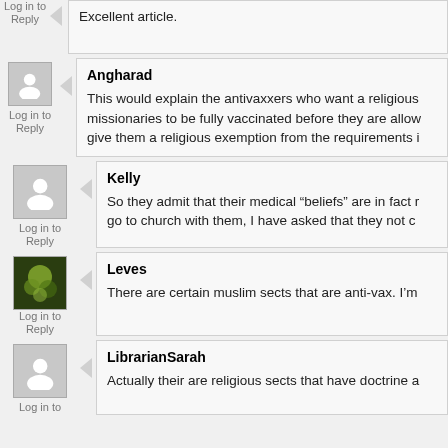Excellent article.
Log in to Reply
Angharad
This would explain the antivaxxers who want a religious exemption from missionaries to be fully vaccinated before they are allowed to give them a religious exemption from the requirements i...
Log in to Reply
Kelly
So they admit that their medical “beliefs” are in fact r... go to church with them, I have asked that they not c...
Log in to Reply
Leves
There are certain muslim sects that are anti-vax. I'm...
Log in to Reply
LibrarianSarah
Actually their are religious sects that have doctrine a...
Log in to Reply